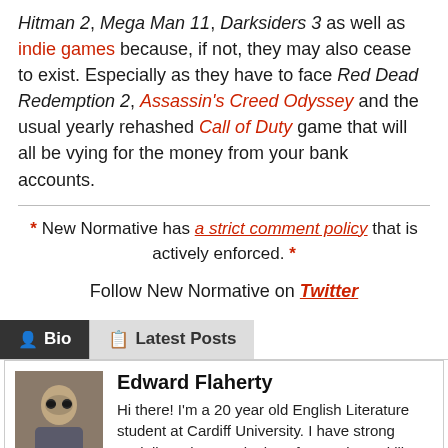Hitman 2, Mega Man 11, Darksiders 3 as well as indie games because, if not, they may also cease to exist. Especially as they have to face Red Dead Redemption 2, Assassin's Creed Odyssey and the usual yearly rehashed Call of Duty game that will all be vying for the money from your bank accounts.
* New Normative has a strict comment policy that is actively enforced. *
Follow New Normative on Twitter
Bio | Latest Posts
Edward Flaherty — Hi there! I'm a 20 year old English Literature student at Cardiff University. I have strong socialist values and a love for gaming. I'd like